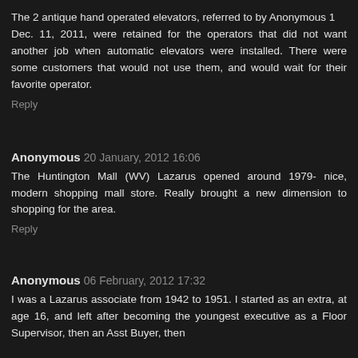The 2 antique hand operated elevators, referred to by Anonymous 1
Dec. 11, 2011, were retained for the operators that did not want another job when automatic elevators were installed. There were some customers that would not use them, and would wait for their favorite operator.
Reply
Anonymous 20 January, 2012 16:06
The Huntington Mall (WV) Lazarus opened around 1979- nice, modern shopping mall store. Really brought a new dimension to shopping for the area.
Reply
Anonymous 06 February, 2012 17:32
I was a Lazarus associate from 1942 to 1951. I started as an extra, at age 16, and left after becoming the youngest executive as a Floor Supervisor, then an Asst Buyer, then